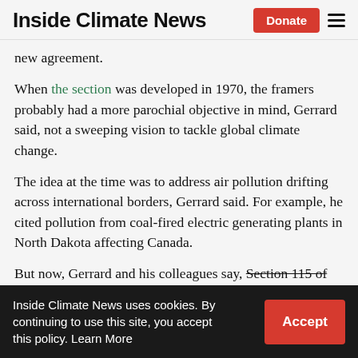Inside Climate News | Donate | ☰
new agreement.
When the section was developed in 1970, the framers probably had a more parochial objective in mind, Gerrard said, not a sweeping vision to tackle global climate change.
The idea at the time was to address air pollution drifting across international borders, Gerrard said. For example, he cited pollution from coal-fired electric generating plants in North Dakota affecting Canada.
But now, Gerrard and his colleagues say, Section 115 of the Clean Air Act, titled
Inside Climate News uses cookies. By continuing to use this site, you accept this policy. Learn More